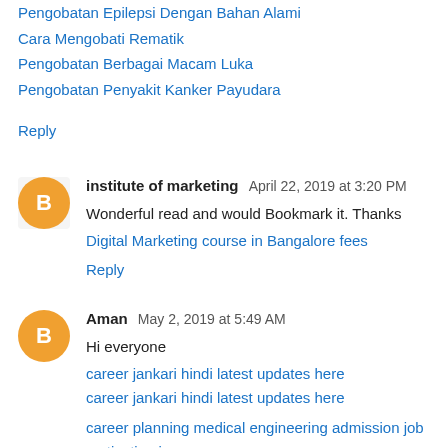Pengobatan Epilepsi Dengan Bahan Alami
Cara Mengobati Rematik
Pengobatan Berbagai Macam Luka
Pengobatan Penyakit Kanker Payudara
Reply
institute of marketing  April 22, 2019 at 3:20 PM
Wonderful read and would Bookmark it. Thanks
Digital Marketing course in Bangalore fees
Reply
Aman  May 2, 2019 at 5:49 AM
Hi everyone
career jankari hindi latest updates here
career jankari hindi latest updates here
career planning medical engineering admission job motivation jan
mbbs admission ebtrentr job updates here
B.Ed admission course job updates here
after 12 th arts job carrier vacancy